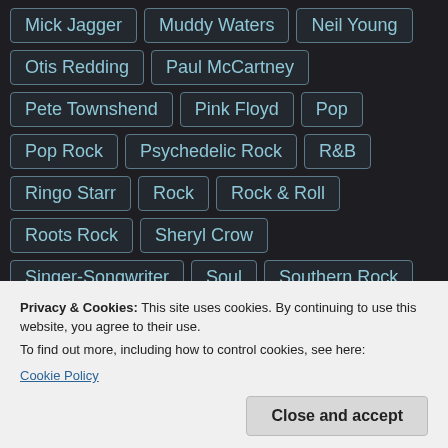Mick Jagger
Muddy Waters
Neil Young
Otis Redding
Paul McCartney
Pete Townshend
Pink Floyd
Pop
Pop Rock
Psychedelic Rock
R&B
Ringo Starr
Rock
Rock & Roll
Roots Rock
Sheryl Crow
Singer-Songwriter
Soul
Southern Rock
The Byrds
The Rolling Stones
The Who
Privacy & Cookies: This site uses cookies. By continuing to use this website, you agree to their use.
To find out more, including how to control cookies, see here:
Cookie Policy
Close and accept